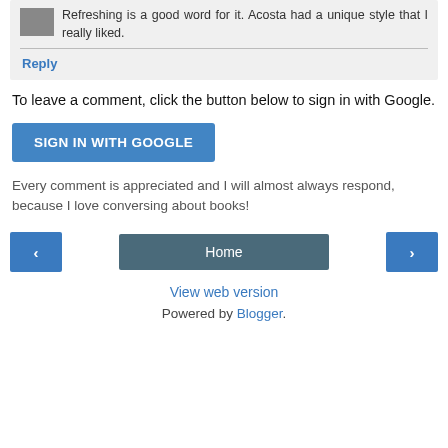Refreshing is a good word for it. Acosta had a unique style that I really liked.
Reply
To leave a comment, click the button below to sign in with Google.
[Figure (other): Blue button labeled SIGN IN WITH GOOGLE]
Every comment is appreciated and I will almost always respond, because I love conversing about books!
[Figure (other): Navigation bar with left arrow, Home button, and right arrow]
View web version
Powered by Blogger.